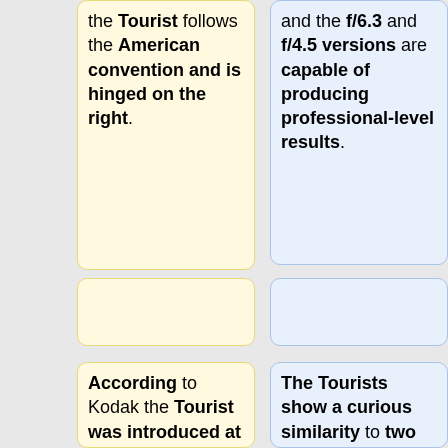the Tourist follows the American convention and is hinged on the right.
and the f/6.3 and f/4.5 versions are capable of producing professional-level results.
According to Kodak the Tourist was introduced at a price of $95 USD<ref>History of Kodak Cameras at www.kodak.com</ref> (app. $870 USD in 2007). At this price, the model was probably the top-of-the-
The Tourists show a curious similarity to two European Kodak models introduced somewhat later. The British [[Kodak Sterling II]] and [[Kodak Junior|Juniors]] (Tourist) and the French Kodak Modèle B 11 (Tourist II)